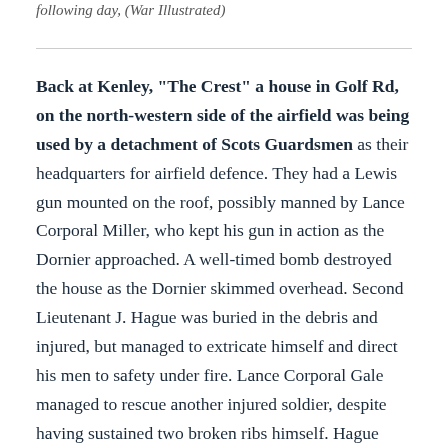following day, (War Illustrated)
Back at Kenley, “The Crest” a house in Golf Rd, on the north-western side of the airfield was being used by a detachment of Scots Guardsmen as their headquarters for airfield defence. They had a Lewis gun mounted on the roof, possibly manned by Lance Corporal Miller, who kept his gun in action as the Dornier approached. A well-timed bomb destroyed the house as the Dornier skimmed overhead. Second Lieutenant J. Hague was buried in the debris and injured, but managed to extricate himself and direct his men to safety under fire. Lance Corporal Gale managed to rescue another injured soldier, despite having sustained two broken ribs himself. Hague received the Military Cross, while Gale and Miller were awarded the Military Medal